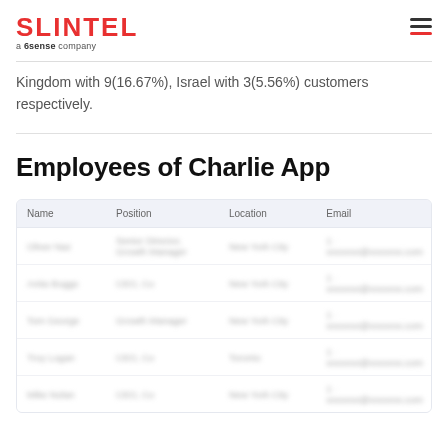SLINTEL a 6sense company
Kingdom with 9(16.67%), Israel with 3(5.56%) customers respectively.
Employees of Charlie App
| Name | Position | Location | Email |
| --- | --- | --- | --- |
| [blurred] | Senior Director, Growth Manager | New York City | [blurred email] |
| [blurred] | CEO, Co | New York City | [blurred email] |
| [blurred] | Growth Manager | New York City | [blurred email] |
| [blurred] | CEO, Co | Toronto | [blurred email] |
| [blurred] | CEO, Co | New York City | [blurred email] |